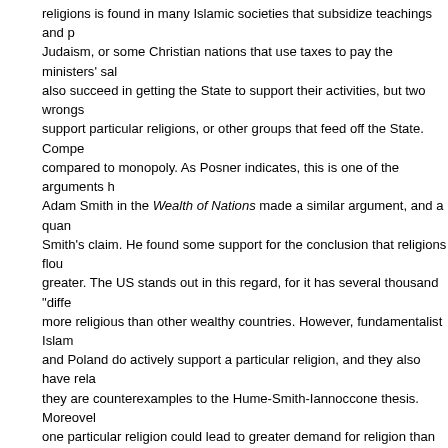religions is found in many Islamic societies that subsidize teachings and p... Judaism, or some Christian nations that use taxes to pay the ministers' sa... also succeed in getting the State to support their activities, but two wrongs support particular religions, or other groups that feed off the State. Compe compared to monopoly. As Posner indicates, this is one of the arguments h Adam Smith in the Wealth of Nations made a similar argument, and a qua Smith's claim. He found some support for the conclusion that religions flou greater. The US stands out in this regard, for it has several thousand "diffe more religious than other wealthy countries. However, fundamentalist Islam and Poland do actively support a particular religion, and they also have rel they are counterexamples to the Hume-Smith-Iannoccone thesis. Moreover one particular religion could lead to greater demand for religion than in an why I believe the case for free competition among religions comes mainly t religious belief systems, including atheistic beliefs, to cater better to people among religions is the same as the case for competition in other industries of view to compete for consumer time, money, and other support without a financed school vouchers for various reasons that I have discussed elseWhe religious denominated schools, as long as they are available on equal term The State does have the right to exert control over the curriculums of scho This control can include sharp limits on how much time a school can spend against organized religions. I am not competent to discuss the legal aspects where does this analysis of the case for competition and a level playing field issues raised by these cases? As Posner indicates, most of the Command supported by all groups, and are not really controversial. Those that are se opposed on grounds that they support certain religions against atheistic gro believe the principle of a level playing field argues against allowing religio public property mentioned by Posner and in the Court's decisions. Still, the are far more innocuous then the many laws that give monopoly powers to farm products, and various other industries. So relative to the harm caused industries, the extensive agitation over the display of the Ten Commandme